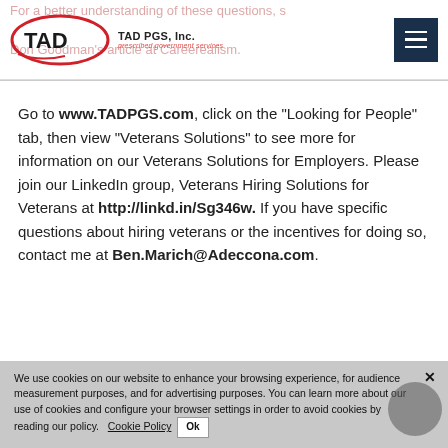TAD PGS, Inc. — prescribed government services
Go to www.TADPGS.com, click on the "Looking for People" tab, then view "Veterans Solutions" to see more for information on our Veterans Solutions for Employers. Please join our LinkedIn group, Veterans Hiring Solutions for Veterans at http://linkd.in/Sg346w. If you have specific questions about hiring veterans or the incentives for doing so, contact me at Ben.Marich@Adeccona.com.
We use cookies on our website to enhance your browsing experience, for audience measurement purposes, and for advertising purposes. You can learn more about our use of cookies and configure your browser settings in order to avoid cookies by reading our policy. Cookie Policy Ok